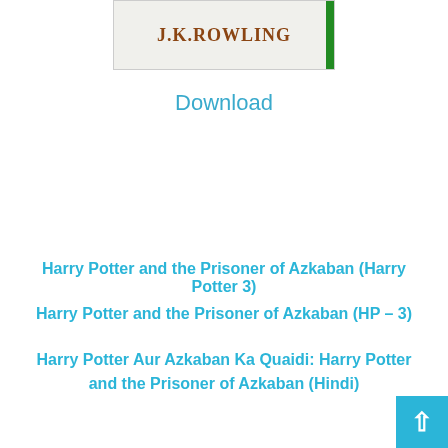[Figure (illustration): Book cover showing 'J.K.ROWLING' text on a white/cream background with a green stripe on the right side]
Download
Harry Potter and the Prisoner of Azkaban (Harry Potter 3)
Harry Potter and the Prisoner of Azkaban (HP – 3)
Harry Potter Aur Azkaban Ka Quaidi: Harry Potter and the Prisoner of Azkaban (Hindi)